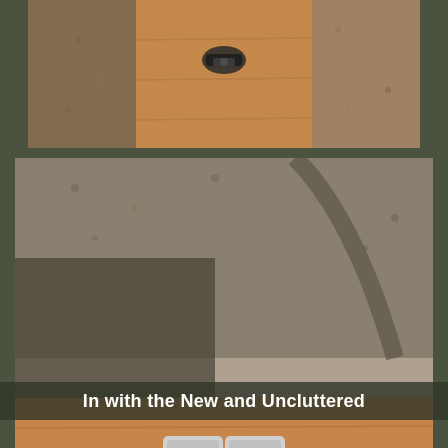[Figure (photo): Top photo showing bicycle pedals or parts on a wooden surface, viewed from above, outdoors with gravel ground visible.]
[Figure (photo): Main photo showing a bicycle handlebar with drop bars, brake levers and shifters, laid on a wooden plank. Gravel ground and bicycle shadow visible in background. Outdoors in sunny conditions.]
In with the New and Uncluttered